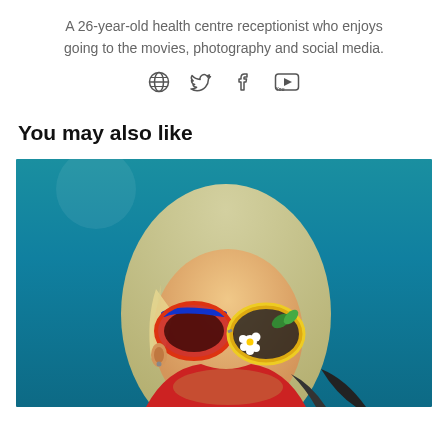A 26-year-old health centre receptionist who enjoys going to the movies, photography and social media.
[Figure (other): Social media icons: globe, Twitter, Facebook, YouTube]
You may also like
[Figure (photo): A blonde woman looking upward wearing colorful novelty sunglasses with flower decorations, wearing a red top, against a teal/blue sky background]